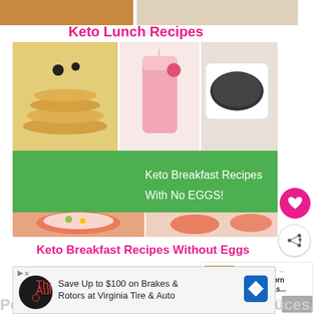[Figure (photo): Partial food photos at top - keto lunch dishes]
Keto Lunch Recipes
[Figure (photo): Collage of keto breakfast foods: pancakes, pink smoothie, dark grains, stuffed pepper, egg-topped cucumber rounds. Green banner overlay reads 'Keto Breakfast Recipes With No EGGS!']
Keto Breakfast Recipes Without Eggs
WHAT'S NEXT → Keto Popcorn Recipe - Eas...
[Figure (photo): Small thumbnail of keto popcorn recipe]
Save Up to $100 on Brakes & Rotors at Virginia Tire & Auto